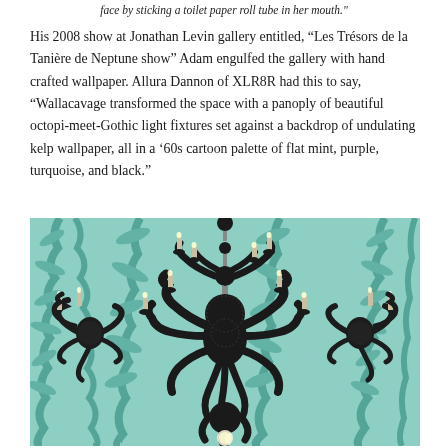face by sticking a toilet paper roll tube in her mouth.
His 2008 show at Jonathan Levin gallery entitled, “Les Trésors de la Tanière de Neptune show” Adam engulfed the gallery with hand crafted wallpaper. Allura Dannon of XLR8R had this to say, “Wallacavage transformed the space with a panoply of beautiful octopi-meet-Gothic light fixtures set against a backdrop of undulating kelp wallpaper, all in a ’60s cartoon palette of flat mint, purple, turquoise, and black.”
[Figure (photo): A black octopus-shaped chandelier with candelabra arms hanging in front of a teal/mint kelp-patterned wallpaper, with two matching black octopus wall sconces on either side.]